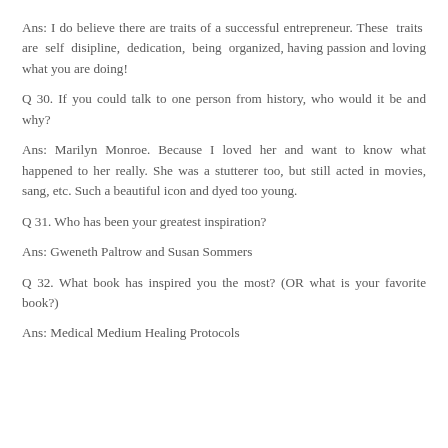Ans: I do believe there are traits of a successful entrepreneur. These traits are self disipline, dedication, being organized, having passion and loving what you are doing!
Q 30. If you could talk to one person from history, who would it be and why?
Ans: Marilyn Monroe. Because I loved her and want to know what happened to her really. She was a stutterer too, but still acted in movies, sang, etc. Such a beautiful icon and dyed too young.
Q 31. Who has been your greatest inspiration?
Ans: Gweneth Paltrow and Susan Sommers
Q 32. What book has inspired you the most? (OR what is your favorite book?)
Ans: Medical Medium Healing Protocols